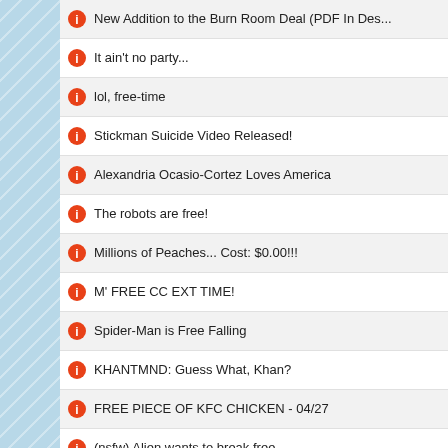New Addition to the Burn Room Deal (PDF In Des...
It ain't no party...
lol, free-time
Stickman Suicide Video Released!
Alexandria Ocasio-Cortez Loves America
The robots are free!
Millions of Peaches... Cost: $0.00!!!
M' FREE CC EXT TIME!
Spider-Man is Free Falling
KHANTMND: Guess What, Khan?
FREE PIECE OF KFC CHICKEN - 04/27
(nsfw) Alien wants to break free
Fast Food Communism (fixed music)
Free Bird
(nsfw) Good Directors Come From UCLA
A Free Message
OMG FREE CANDY?!?!?!? NO WAI!!!!
(nsfw) And I'm not so suicidal, after all. ...